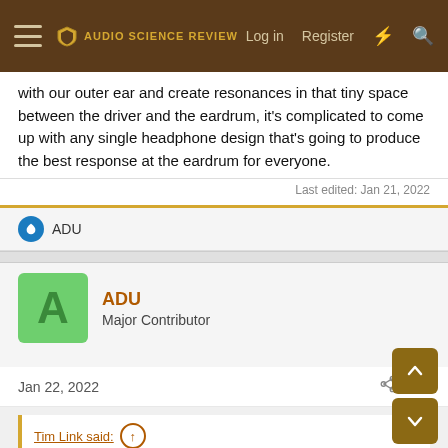Audio Science Review — Log in | Register
with our outer ear and create resonances in that tiny space between the driver and the eardrum, it's complicated to come up with any single headphone design that's going to produce the best response at the eardrum for everyone.
Last edited: Jan 21, 2022
ADU
ADU
Major Contributor
Jan 22, 2022
#18
Tim Link said: ↑
I think it does come down to frequency response at the eardrum. Since our ears are all shaped a little differently and since the sound is going into our ear at a different angle than it typically would when listening to a distant source, and since the headphone driver is close enough to actually acoustically couple with our outer ear and create